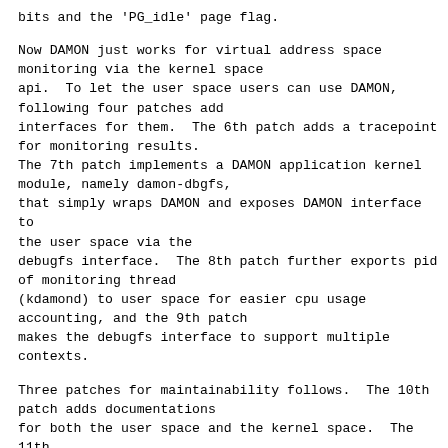bits and the 'PG_idle' page flag.

Now DAMON just works for virtual address space monitoring via the kernel space api.  To let the user space users can use DAMON, following four patches add interfaces for them.  The 6th patch adds a tracepoint for monitoring results.
The 7th patch implements a DAMON application kernel module, namely damon-dbgfs,
that simply wraps DAMON and exposes DAMON interface to the user space via the debugfs interface.  The 8th patch further exports pid of monitoring thread (kdamond) to user space for easier cpu usage accounting, and the 9th patch makes the debugfs interface to support multiple contexts.

Three patches for maintainability follows.  The 10th patch adds documentations for both the user space and the kernel space.  The 11th patch provides unit tests (based on the kunit) while the 12th patch adds user space tests (based on the kselftest).

Finally, the last patch (13th) updates the MAINTAINERS file.